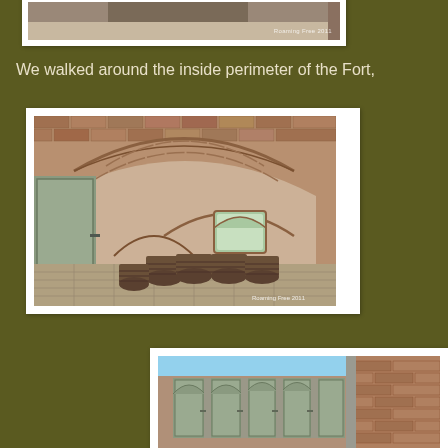[Figure (photo): Partial top photo of fort exterior, cropped at top of page]
We walked around the inside perimeter of the Fort,
[Figure (photo): Interior of fort brick vaulted room with wooden barrels and a window opening, watermark 'Roaming Free 2011']
[Figure (photo): Exterior corridor of fort showing arched doorways, sage green doors, and brick walls under blue sky, partially visible at bottom]